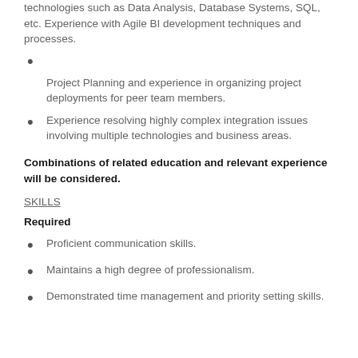technologies such as Data Analysis, Database Systems, SQL, etc. Experience with Agile BI development techniques and processes.
Project Planning and experience in organizing project deployments for peer team members.
Experience resolving highly complex integration issues involving multiple technologies and business areas.
Combinations of related education and relevant experience will be considered.
SKILLS
Required
Proficient communication skills.
Maintains a high degree of professionalism.
Demonstrated time management and priority setting skills.